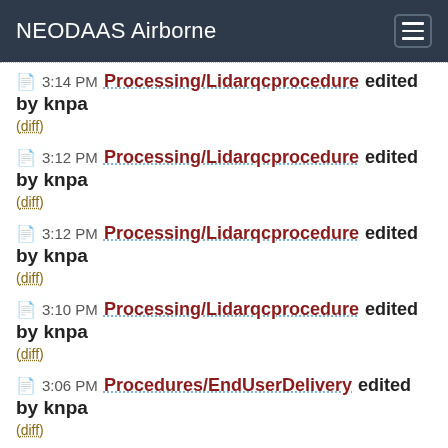NEODAAS Airborne
3:14 PM Processing/Lidarqcprocedure edited by knpa (diff)
3:12 PM Processing/Lidarqcprocedure edited by knpa (diff)
3:12 PM Processing/Lidarqcprocedure edited by knpa (diff)
3:10 PM Processing/Lidarqcprocedure edited by knpa (diff)
3:06 PM Procedures/EndUserDelivery edited by knpa (diff)